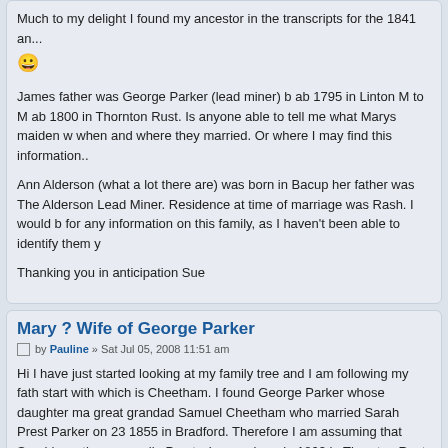Much to my delight I found my ancestor in the transcripts for the 1841 an... 😀 James father was George Parker (lead miner) b ab 1795 in Linton M to M ab 1800 in Thornton Rust. Is anyone able to tell me what Marys maiden w when and where they married. Or where I may find this information.. Ann Alderson (what a lot there are) was born in Bacup her father was The Alderson Lead Miner. Residence at time of marriage was Rash. I would b for any information on this family, as I haven't been able to identify them y Thanking you in anticipation Sue
Mary ? Wife of George Parker
by Pauline » Sat Jul 05, 2008 11:51 am
Hi I have just started looking at my family tree and I am following my fath start with which is Cheetham. I found George Parker whose daughter ma great grandad Samuel Cheetham who married Sarah Prest Parker on 23 1855 in Bradford. Therefore I am assuming that Sarah's mother was calle Prest who was born in 1803 in Thornton Rust. Early days yet not investig they got married. Hope this helps
Best wishes
Pauline